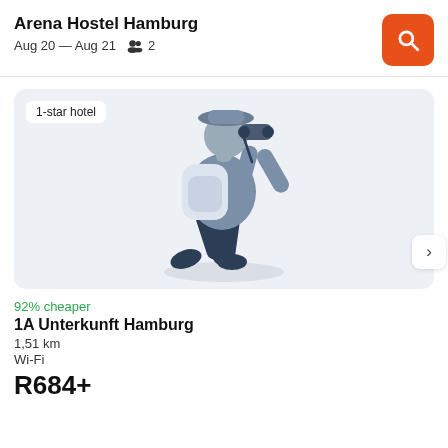Arena Hostel Hamburg
Aug 20 — Aug 21   2
[Figure (illustration): Illustration of a traveler with a backpack looking through binoculars, depicted in a flat vector style with blue-grey tones, on a light grey-blue background. A '1-star hotel' badge appears in the top-left corner, and a right-arrow navigation button appears on the right edge.]
92% cheaper
1A Unterkunft Hamburg
1,51 km
Wi-Fi
R684+